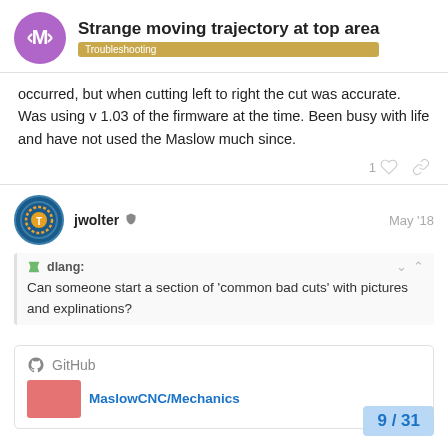Strange moving trajectory at top area — Troubleshooting
occurred, but when cutting left to right the cut was accurate. Was using v 1.03 of the firmware at the time. Been busy with life and have not used the Maslow much since.
jwolter · May '18
dlang: Can someone start a section of 'common bad cuts' with pictures and explinations?
GitHub
MaslowCNC/Mechanic...
9 / 31